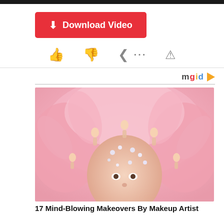[Figure (screenshot): Top black navigation bar]
Download Video (button with download icon, red background)
[Figure (infographic): Row of social action icons: thumbs up, thumbs down, share, info — in gray]
[Figure (logo): mgid logo with orange play arrow icon]
[Figure (photo): Photo of a person wearing an elaborate pink feather headdress decorated with Barbie doll figures and rhinestones]
17 Mind-Blowing Makeovers By Makeup Artist